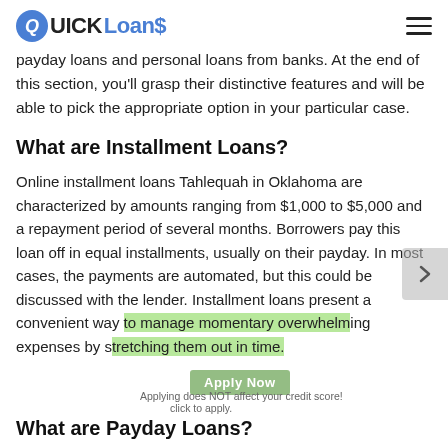QUICK Loans
payday loans and personal loans from banks. At the end of this section, you'll grasp their distinctive features and will be able to pick the appropriate option in your particular case.
What are Installment Loans?
Online installment loans Tahlequah in Oklahoma are characterized by amounts ranging from $1,000 to $5,000 and a repayment period of several months. Borrowers pay this loan off in equal installments, usually on their payday. In most cases, the payments are automated, but this could be discussed with the lender. Installment loans present a convenient way to manage momentary overwhelming expenses by stretching them out in time.
What are Payday Loans?